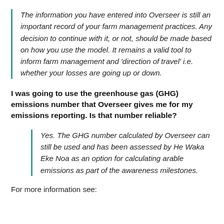The information you have entered into Overseer is still an important record of your farm management practices. Any decision to continue with it, or not, should be made based on how you use the model. It remains a valid tool to inform farm management and 'direction of travel' i.e. whether your losses are going up or down.
I was going to use the greenhouse gas (GHG) emissions number that Overseer gives me for my emissions reporting. Is that number reliable?
Yes. The GHG number calculated by Overseer can still be used and has been assessed by He Waka Eke Noa as an option for calculating arable emissions as part of the awareness milestones.
For more information see: